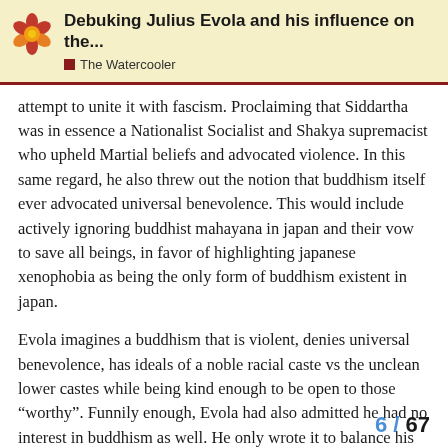Debuking Julius Evola and his influence on the... | The Watercooler
attempt to unite it with fascism. Proclaiming that Siddartha was in essence a Nationalist Socialist and Shakya supremacist who upheld Martial beliefs and advocated violence. In this same regard, he also threw out the notion that buddhism itself ever advocated universal benevolence. This would include actively ignoring buddhist mahayana in japan and their vow to save all beings, in favor of highlighting japanese xenophobia as being the only form of buddhism existent in japan.
Evola imagines a buddhism that is violent, denies universal benevolence, has ideals of a noble racial caste vs the unclean lower castes while being kind enough to be open to those “worthy”. Funnily enough, Evola had also admitted he had no interest in buddhism as well. He only wrote it to balance his work on hinduism.
6 / 67